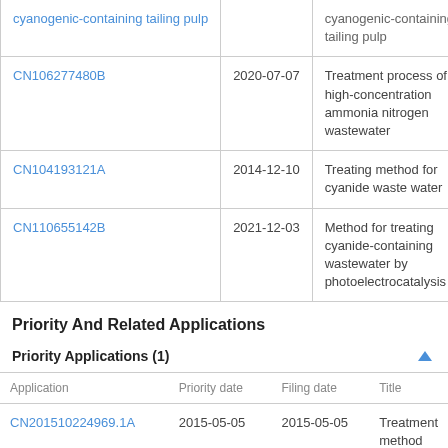|  |  |  |
| --- | --- | --- |
| CN106277480B | 2020-07-07 | Treatment process of high-concentration ammonia nitrogen wastewater |
| CN104193121A | 2014-12-10 | Treating method for cyanide waste water |
| CN110655142B | 2021-12-03 | Method for treating cyanide-containing wastewater by photoelectrocatalysis |
Priority And Related Applications
Priority Applications (1)
| Application | Priority date | Filing date | Title |
| --- | --- | --- | --- |
| CN201510224969.1A | 2015-05-05 | 2015-05-05 | Treatment method for gold- |